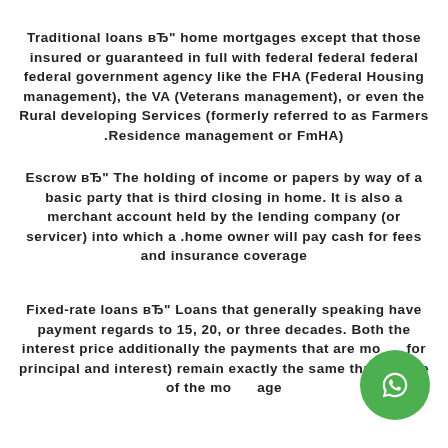Traditional loans вЂ" home mortgages except that those insured or guaranteed in full with federal federal federal federal government agency like the FHA (Federal Housing management), the VA (Veterans management), or even the Rural developing Services (formerly referred to as Farmers Residence management or FmHA).
Escrow вЂ" The holding of income or papers by way of a basic party that is third closing in home. It is also a merchant account held by the lending company (or servicer) into which a home owner will pay cash for fees and insurance coverage.
Fixed-rate loans вЂ" Loans that generally speaking have payment regards to 15, 20, or three decades. Both the interest price additionally the payments that are monthly (for principal and interest) remain exactly the same throughout the life of the mortgage.